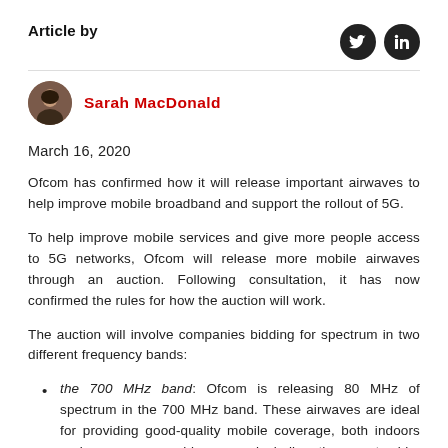Article by
[Figure (illustration): Social media icons: Twitter bird and LinkedIn 'in' logo, both white on dark circular backgrounds]
[Figure (photo): Circular avatar photo of Sarah MacDonald, a woman with dark hair]
Sarah MacDonald
March 16, 2020
Ofcom has confirmed how it will release important airwaves to help improve mobile broadband and support the rollout of 5G.
To help improve mobile services and give more people access to 5G networks, Ofcom will release more mobile airwaves through an auction. Following consultation, it has now confirmed the rules for how the auction will work.
The auction will involve companies bidding for spectrum in two different frequency bands:
the 700 MHz band: Ofcom is releasing 80 MHz of spectrum in the 700 MHz band. These airwaves are ideal for providing good-quality mobile coverage, both indoors and across very wide areas, including the countryside. Ofcom has also published a progress